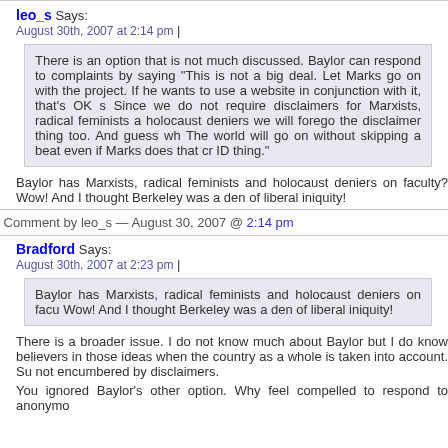leo_s Says:
August 30th, 2007 at 2:14 pm |
There is an option that is not much discussed. Baylor can respond to complaints by saying "This is not a big deal. Let Marks go on with the project. If he wants to use a website in conjunction with it, that's OK since Since we do not require disclaimers for Marxists, radical feminists and holocaust deniers we will forego the disclaimer thing too. And guess what! The world will go on without skipping a beat even if Marks does that creationist ID thing."
Baylor has Marxists, radical feminists and holocaust deniers on faculty? Wow! And I thought Berkeley was a den of liberal iniquity!
Comment by leo_s — August 30, 2007 @ 2:14 pm
Bradford Says:
August 30th, 2007 at 2:23 pm |
Baylor has Marxists, radical feminists and holocaust deniers on faculty? Wow! And I thought Berkeley was a den of liberal iniquity!
There is a broader issue. I do not know much about Baylor but I do know believers in those ideas when the country as a whole is taken into account. Such not encumbered by disclaimers.
You ignored Baylor's other option. Why feel compelled to respond to anonymo...